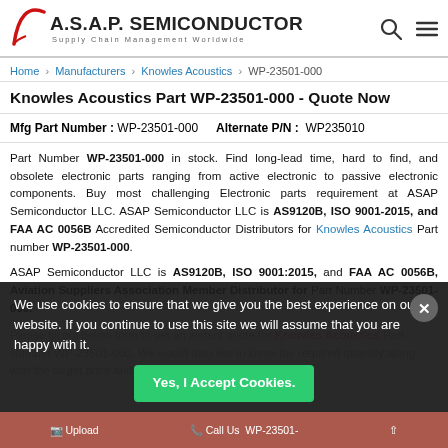A.S.A.P. SEMICONDUCTOR Supply Chain Management Worldwide
Home > Manufacturers > Knowles Acoustics > WP-23501-000
Knowles Acoustics Part WP-23501-000 - Quote Now
Mfg Part Number : WP-23501-000    Alternate P/N :  WP235010
Part Number WP-23501-000 in stock. Find long-lead time, hard to find, and obsolete electronic parts ranging from active electronic to passive electronic components. Buy most challenging Electronic parts requirement at ASAP Semiconductor LLC. ASAP Semiconductor LLC is AS9120B, ISO 9001-2015, and FAA AC 0056B Accredited Semiconductor Distributors for Knowles Acoustics Part number WP-23501-000.
ASAP Semiconductor LLC is AS9120B, ISO 9001:2015, and FAA AC 0056B, Aviation Suppliers Association Member Distributor for Part Number WP-23501-000.
Please fill out below form to get an instant quote for Knowles Acoustics Part Number WP-23501-000. We would also like to know the required quantity along with the target price and expected dock date.
We use cookies to ensure that we give you the best experience on our website. If you continue to use this site we will assume that you are happy with it.
Yes, I Accept Cookies.